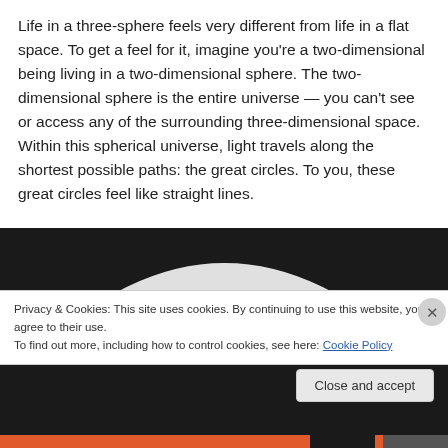Life in a three-sphere feels very different from life in a flat space. To get a feel for it, imagine you're a two-dimensional being living in a two-dimensional sphere. The two-dimensional sphere is the entire universe — you can't see or access any of the surrounding three-dimensional space. Within this spherical universe, light travels along the shortest possible paths: the great circles. To you, these great circles feel like straight lines.
[Figure (illustration): Dark background image showing the top arc of a white/light grey sphere or dome shape against a black background, partially visible.]
Privacy & Cookies: This site uses cookies. By continuing to use this website, you agree to their use.
To find out more, including how to control cookies, see here: Cookie Policy
Close and accept